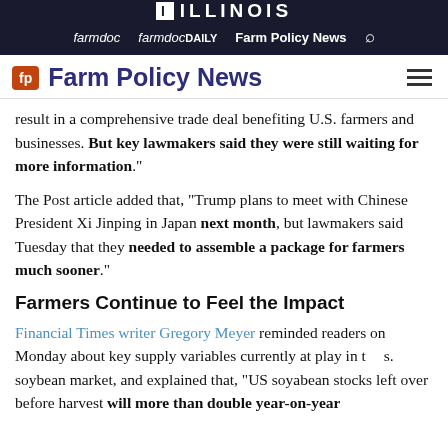I ILLINOIS | farmdoc  farmdocDAILY  Farm Policy News  [search]
Farm Policy News
result in a comprehensive trade deal benefiting U.S. farmers and businesses. But key lawmakers said they were still waiting for more information.
The Post article added that, “Trump plans to meet with Chinese President Xi Jinping in Japan next month, but lawmakers said Tuesday that they needed to assemble a package for farmers much sooner.”
Farmers Continue to Feel the Impact
Financial Times writer Gregory Meyer reminded readers on Monday about key supply variables currently at play in the soybean market, and explained that, “US soyabean stocks left over before harvest will more than double year-on-year